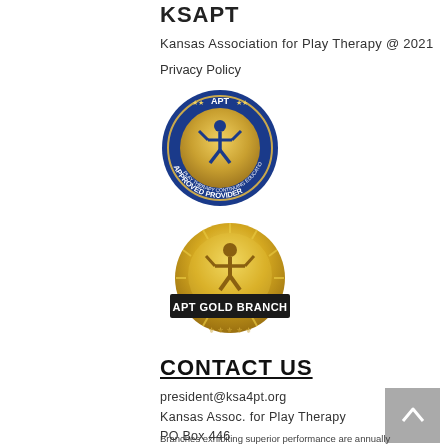KSAPT
Kansas Association for Play Therapy @ 2021
Privacy Policy
[Figure (logo): APT Approved Provider circular badge with blue background and gold center showing a figure with raised arms]
[Figure (logo): APT Gold Branch circular gold medal badge with text APT GOLD BRANCH on a dark banner]
CONTACT US
president@ksa4pt.org
Kansas Assoc. for Play Therapy
PO Box 446
Valley Center, KS 67147
Branches exhibiting superior performance are annually presented Gold Branch Awards and are identified by the Gold Branch insignia. See A4pt.org for more info.